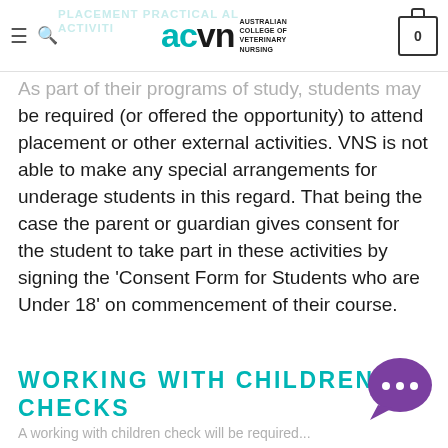PLACEMENT PRACTICAL AL ACTIVITY — ACVN Australian College of Veterinary Nursing
As part of their programs of study, students may be required (or offered the opportunity) to attend placement or other external activities. VNS is not able to make any special arrangements for underage students in this regard. That being the case the parent or guardian gives consent for the student to take part in these activities by signing the 'Consent Form for Students who are Under 18' on commencement of their course.
WORKING WITH CHILDREN CHECKS